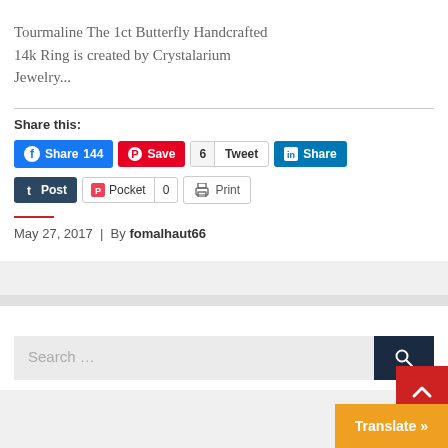Tourmaline The 1ct Butterfly Handcrafted 14k Ring is created by Crystalarium Jewelry...
Share this:
Facebook Share 144 | Pinterest Save | Tweet 6 | LinkedIn Share | Tumblr Post | Pocket 0 | Print
May 27, 2017 | By fomalhaut66
Search ...